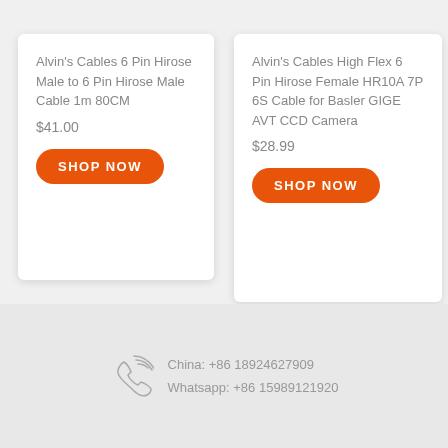Alvin's Cables 6 Pin Hirose Male to 6 Pin Hirose Male Cable 1m 80CM
$41.00
SHOP NOW
Alvin's Cables High Flex 6 Pin Hirose Female HR10A 7P 6S Cable for Basler GIGE AVT CCD Camera
$28.99
SHOP NOW
China: +86 18924627909
Whatsapp: +86 15989121920